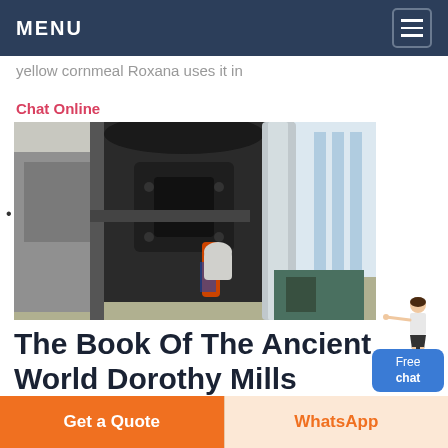MENU
yellow cornmeal Roxana uses it in
Chat Online
[Figure (photo): Industrial milling machinery inside a factory. Large black vertical mill/grinder equipment with pipes, cables, and industrial fittings. Tall silver cylindrical duct on right side. Bright windows in background.]
The Book Of The Ancient World Dorothy Mills
Get a Quote | WhatsApp